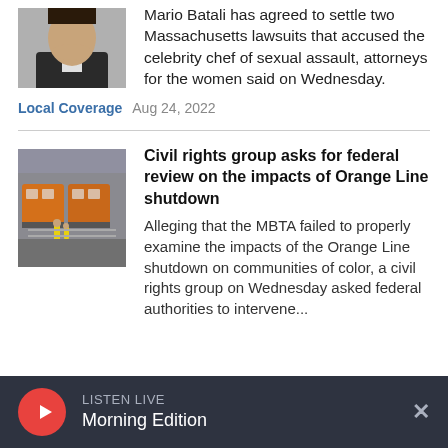[Figure (photo): Thumbnail photo of a man in a suit, partially cropped, visible from chin down]
Mario Batali has agreed to settle two Massachusetts lawsuits that accused the celebrity chef of sexual assault, attorneys for the women said on Wednesday.
Local Coverage  Aug 24, 2022
[Figure (photo): Thumbnail photo of Orange Line MBTA trains in a rail yard with workers visible]
Civil rights group asks for federal review on the impacts of Orange Line shutdown
Alleging that the MBTA failed to properly examine the impacts of the Orange Line shutdown on communities of color, a civil rights group on Wednesday asked federal authorities to intervene...
LISTEN LIVE  Morning Edition